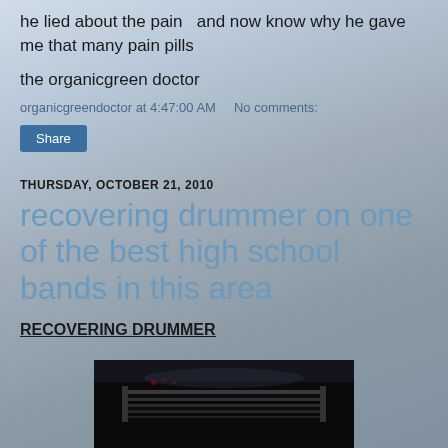he lied about the pain  and now know why he gave me that many pain pills
the organicgreen doctor
organicgreendoctor at 4:47:00 AM    No comments:
Share
THURSDAY, OCTOBER 21, 2010
recovering drummer on one of the best high school bands in this area
RECOVERING DRUMMER
[Figure (photo): Night-time photo of a marching band field or stadium performance area, dark with some visible equipment/structures]